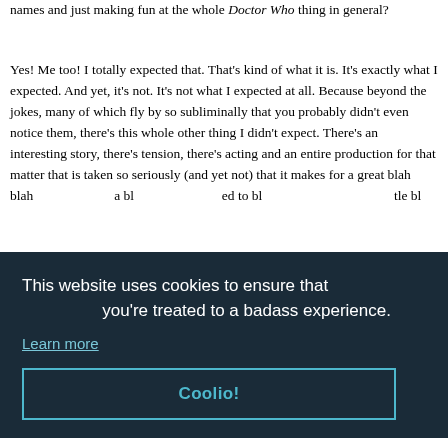names and just making fun at the whole Doctor Who thing in general?
Yes! Me too! I totally expected that. That's kind of what it is. It's exactly what I expected. And yet, it's not. It's not what I expected at all. Because beyond the jokes, many of which fly by so subliminally that you probably didn't even notice them, there's this whole other thing I didn't expect. There's an interesting story, there's tension, there's acting and an entire production for that matter that is taken so seriously (and yet not) that it makes for a great blah blah a blah blah expected to blah blah blah little bl
that the second thing while the first thing where the Doctor has always all of times been the ones. Chek! The second smartest thing would have been to take
[Figure (other): Cookie consent overlay banner with dark navy background reading 'This website uses cookies to ensure that you're treated to a badass experience.' with a 'Learn more' link and a 'Coolio!' button with teal border.]